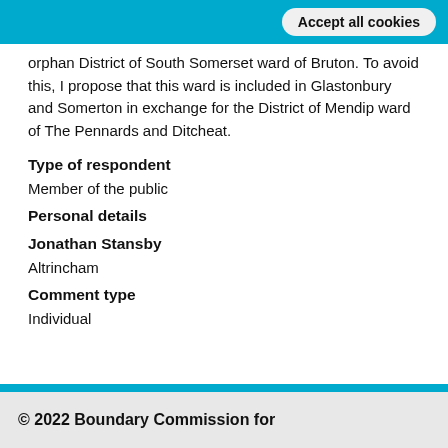Accept all cookies
orphan District of South Somerset ward of Bruton. To avoid this, I propose that this ward is included in Glastonbury and Somerton in exchange for the District of Mendip ward of The Pennards and Ditcheat.
Type of respondent
Member of the public
Personal details
Jonathan Stansby
Altrincham
Comment type
Individual
© 2022 Boundary Commission for